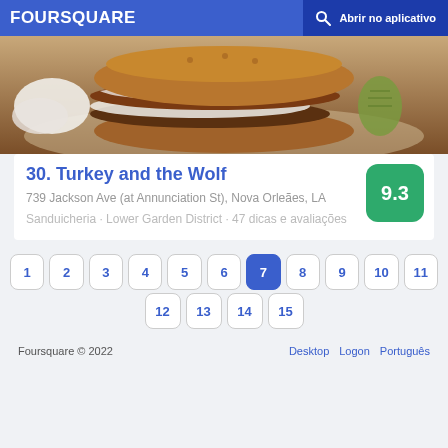FOURSQUARE — Abrir no aplicativo
[Figure (photo): Close-up photo of a sandwich with toasted bun, meat, white sauce/cream, on a plate, with pickles visible on the side]
30. Turkey and the Wolf
739 Jackson Ave (at Annunciation St), Nova Orleães, LA
Sanduicheria · Lower Garden District · 47 dicas e avaliações
1
2
3
4
5
6
7
8
9
10
11
12
13
14
15
Foursquare © 2022 — Desktop | Logon | Português